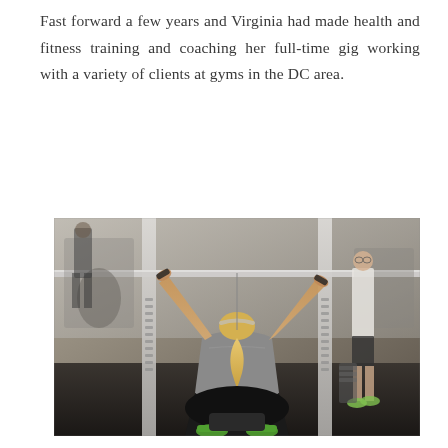Fast forward a few years and Virginia had made health and fitness training and coaching her full-time gig working with a variety of clients at gyms in the DC area.
[Figure (photo): A woman with blonde hair in a ponytail, wearing a gray t-shirt and black pants, seen from behind, seated at a lat pulldown machine in a gym with both arms raised gripping a barbell overhead. Other gym-goers and equipment are visible in the background.]